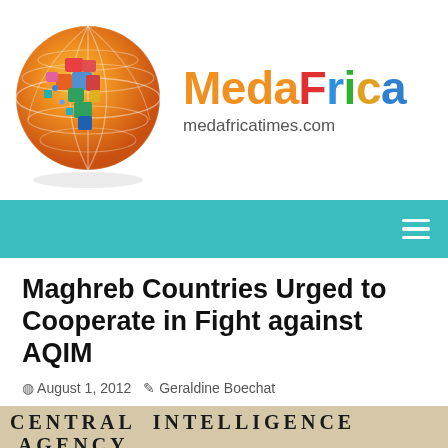[Figure (logo): MedaFrica logo: colorful globe with Africa highlighted, beside the text 'MedaFrica' in colored letters and 'medafricatimes.com' below]
[Figure (other): Teal navigation bar with hamburger menu icon on the right]
Maghreb Countries Urged to Cooperate in Fight against AQIM
August 1, 2012  Geraldine Boechat
[Figure (photo): Photo showing text: 'CENTRAL INTELLIGENCE AGENCY' and '& LIVES IN THE SERVICE OF THEIR C' on a stone or building facade]